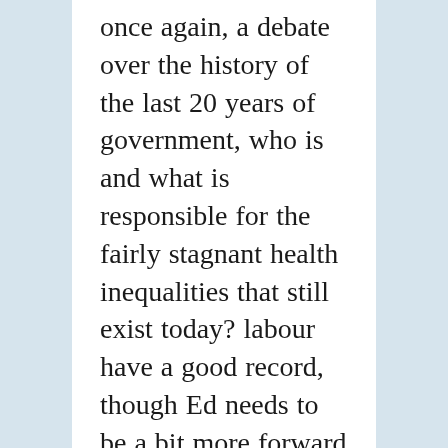once again, a debate over the history of the last 20 years of government, who is and what is responsible for the fairly stagnant health inequalities that still exist today? labour have a good record, though Ed needs to be a bit more forward on this one for the future, Cameron has offered his (flawed in my opinion) plan for change, Ed needs to offer a more progressive solution to Cameron's. Perhaps